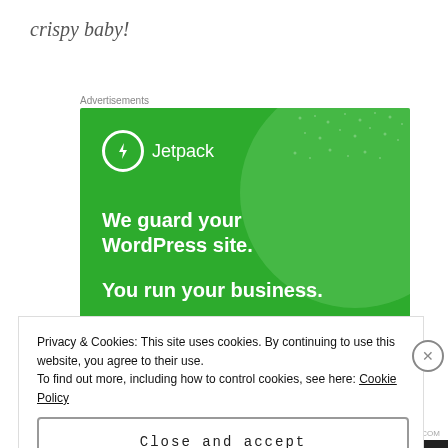crispy baby!
Advertisements
[Figure (illustration): Jetpack advertisement banner with green background. Shows Jetpack logo (lightning bolt in circle) and text: 'We guard your WordPress site. You run your business.']
Privacy & Cookies: This site uses cookies. By continuing to use this website, you agree to their use.
To find out more, including how to control cookies, see here: Cookie Policy
Close and accept